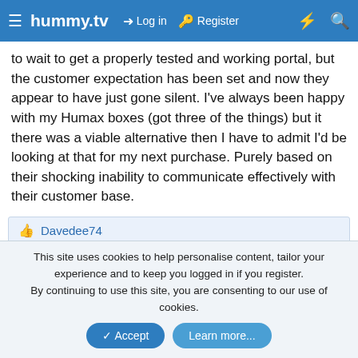hummy.tv | Log in | Register
to wait to get a properly tested and working portal, but the customer expectation has been set and now they appear to have just gone silent. I've always been happy with my Humax boxes (got three of the things) but it there was a viable alternative then I have to admit I'd be looking at that for my next purchase. Purely based on their shocking inability to communicate effectively with their customer base.
👍 Davedee74
[Figure (photo): User avatar photo for parish showing a palm tree against a blue sky]
parish
Member
Feb 2, 2011  #7
This site uses cookies to help personalise content, tailor your experience and to keep you logged in if you register.
By continuing to use this site, you are consenting to our use of cookies.
✓ Accept   Learn more...